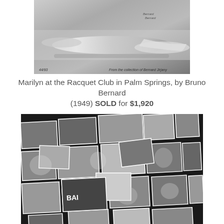[Figure (photo): Black and white photograph of Marilyn Monroe reclining at the Racquet Club in Palm Springs, by Bruno Bernard (1949). Signed print with edition number and dedication inscription.]
Marilyn at the Racquet Club in Palm Springs, by Bruno Bernard (1949) SOLD for $1,920
[Figure (photo): Collage mosaic of multiple black and white photographs of Marilyn Monroe in various poses and settings, arranged in an overlapping scattered layout.]